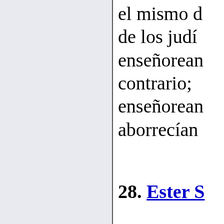el mismo d de los judí enseñorear contrario; enseñorear aborrecían
28. Ester S